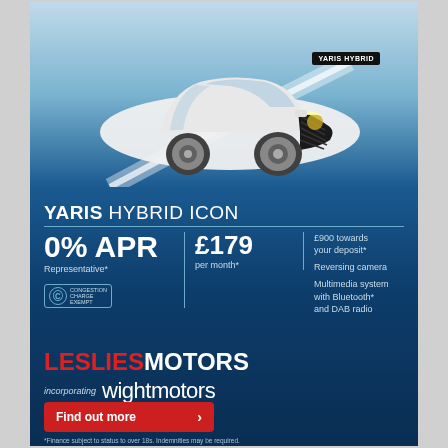[Figure (photo): White Toyota Yaris Hybrid car photographed from front-left angle on blue gradient background with curved white line design element]
YARIS HYBRID ICON
0% APR Representative*
£179 per month*
£900 towards your deposit*
Reversing camera
Multimedia system with Bluetooth* and DAB radio
LESLIES MOTORS incorporating wightmotors
Find out more ›
*Finance subject to status to over 18s. Indemnities may be required. Terms and conditions apply.